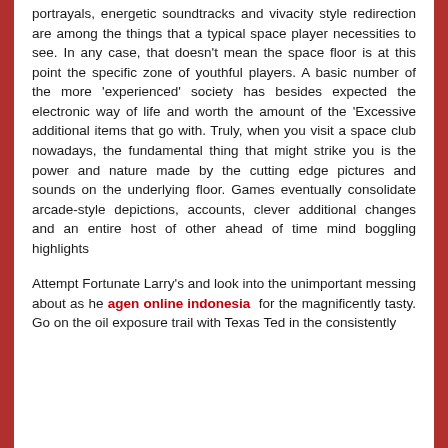portrayals, energetic soundtracks and vivacity style redirection are among the things that a typical space player necessities to see. In any case, that doesn't mean the space floor is at this point the specific zone of youthful players. A basic number of the more 'experienced' society has besides expected the electronic way of life and worth the amount of the 'Excessive additional items that go with. Truly, when you visit a space club nowadays, the fundamental thing that might strike you is the power and nature made by the cutting edge pictures and sounds on the underlying floor. Games eventually consolidate arcade-style depictions, accounts, clever additional changes and an entire host of other ahead of time mind boggling highlights
Attempt Fortunate Larry's and look into the unimportant messing about as he agen online indonesia for the magnificently tasty. Go on the oil exposure trail with Texas Ted in the consistently